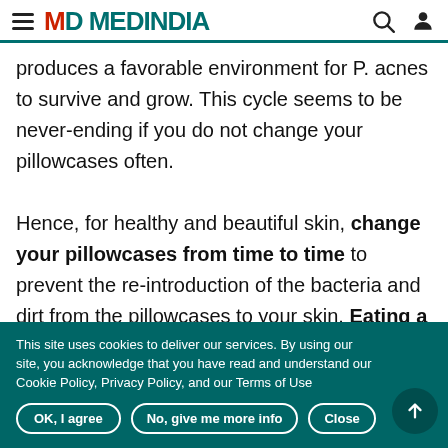MEDINDIA
produces a favorable environment for P. acnes to survive and grow. This cycle seems to be never-ending if you do not change your pillowcases often.

Hence, for healthy and beautiful skin, change your pillowcases from time to time to prevent the re-introduction of the bacteria and dirt from the pillowcases to your skin. Eating a nutritious diet and
This site uses cookies to deliver our services. By using our site, you acknowledge that you have read and understand our Cookie Policy, Privacy Policy, and our Terms of Use
OK, I agree
No, give me more info
Close